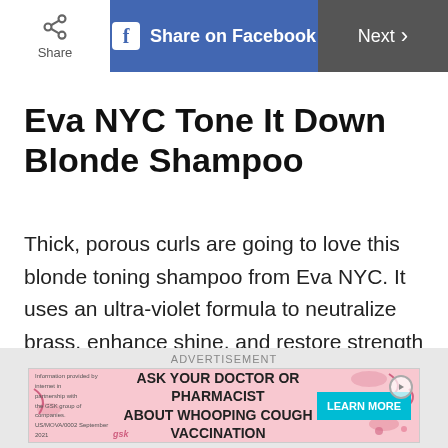Share on Facebook | Next
Eva NYC Tone It Down Blonde Shampoo
Thick, porous curls are going to love this blonde toning shampoo from Eva NYC. It uses an ultra-violet formula to neutralize brass, enhance shine, and restore strength to natural or color-treated blonde hair of all types and textures, but especially those in need of a drink of moisture. This nutrient-rich formula is one of the best purple shampoos to bring blonde hair back to life, kick
ADVERTISEMENT
[Figure (screenshot): Advertisement banner: Ask your doctor or pharmacist about whooping cough vaccination. Learn More button. Pink illustrated background with decorative elements.]